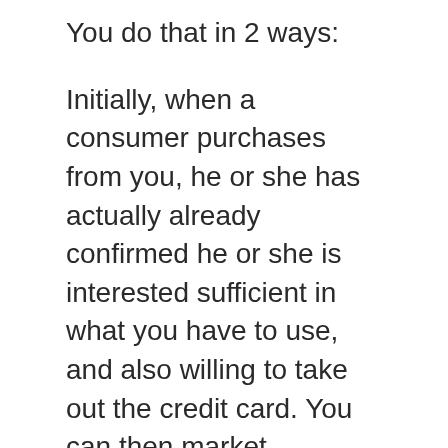You do that in 2 ways:
Initially, when a consumer purchases from you, he or she has actually already confirmed he or she is interested sufficient in what you have to use, and also willing to take out the credit card. You can then market particular products and services to those purchasing consumers over and also over, which is a lot easier and also less costly to do than just getting new consumers. It produces lifetime clients.
The other method to increase the worth of a client is to turn a website visitor into a paying consumer. When website visitors provide you their email addresses, you can market to them especially with special deals